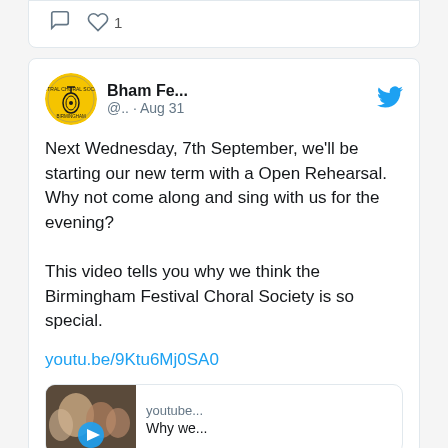[Figure (screenshot): Top of a Twitter/social media card showing comment icon and heart icon with count 1]
[Figure (screenshot): Twitter profile avatar: yellow circular logo for Birmingham Festival Choral Society]
Bham Fe... @.. · Aug 31
Next Wednesday, 7th September, we'll be starting our new term with a Open Rehearsal. Why not come along and sing with us for the evening?

This video tells you why we think the Birmingham Festival Choral Society is so special.
youtu.be/9Ktu6Mj0SA0
[Figure (screenshot): YouTube video preview card showing thumbnail with people and play button, site label 'youtube...' and title 'Why we...']